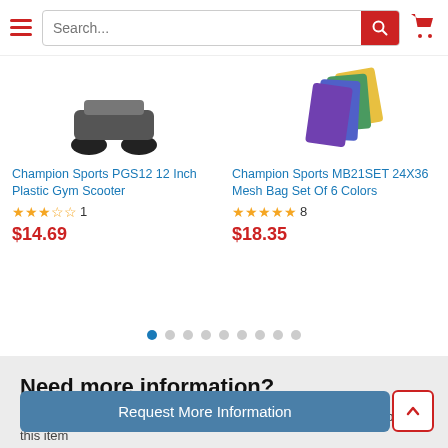[Figure (screenshot): E-commerce website header with hamburger menu, search bar, and cart icon]
Champion Sports PGS12 12 Inch Plastic Gym Scooter
★★★☆☆ 1
$14.69
Champion Sports MB21SET 24X36 Mesh Bag Set Of 6 Colors
★★★★★ 8
$18.35
Need more information?
Our staff are available to answer any questions you may have about this item
Request More Information